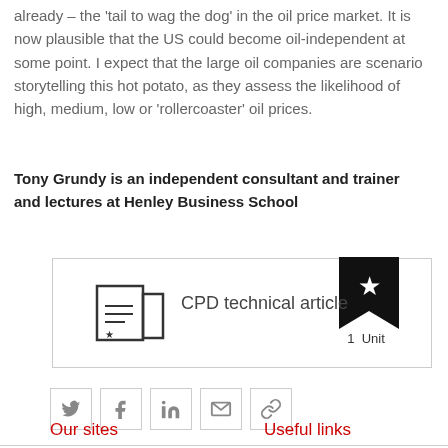already – the 'tail to wag the dog' in the oil price market. It is now plausible that the US could become oil-independent at some point. I expect that the large oil companies are scenario storytelling this hot potato, as they assess the likelihood of high, medium, low or 'rollercoaster' oil prices.
Tony Grundy is an independent consultant and trainer and lectures at Henley Business School
[Figure (other): CPD technical article box with bookmark icon showing 1 Unit]
[Figure (other): Social sharing buttons: Twitter, Facebook, LinkedIn, Email, Link]
Our sites
Useful links